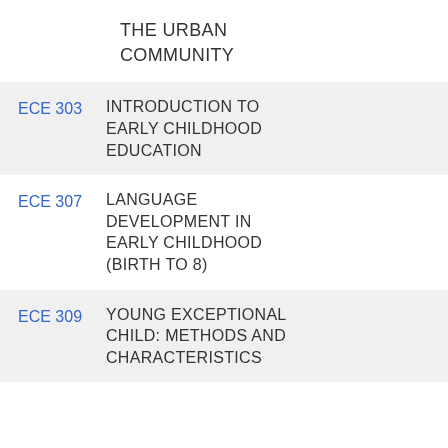THE URBAN COMMUNITY
ECE 303 INTRODUCTION TO EARLY CHILDHOOD EDUCATION
ECE 307 LANGUAGE DEVELOPMENT IN EARLY CHILDHOOD (BIRTH TO 8)
ECE 309 YOUNG EXCEPTIONAL CHILD: METHODS AND CHARACTERISTICS